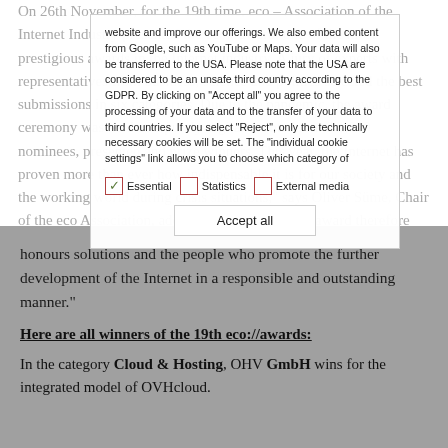On 26th November, for the 19th time, eco – Association of the Internet Industry presented the eco://award, one of the most prestigious awards in the Internet industry. A jury of experts with representatives from business, science and politics selected the best submissions in six categories. Due to the pandemic, the award ceremony was held as a purely digital event. Around 1,000 nominees, presented and prize winners. This year, the Internet has proven more than ever how indispensable it is for our society and the working world during crisis situations, says Oliver Süme, Chair of the eco Association, adding: This year's eco://award therefore
[Figure (other): Cookie consent overlay dialog with text about data processing, GDPR notice, three checkboxes (Essential checked, Statistics unchecked, External media unchecked), and an Accept all button.]
honours solutions and the people who promote the further development of the Internet in a responsible and outstanding manner."
Here are all winners of the 19th eco://awards:
In the category Cloud & Hosting, OHV GmbH wins for the integrated model of OVHcloud.